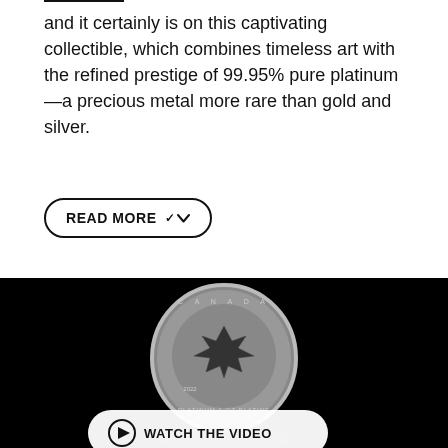and it certainly is on this captivating collectible, which combines timeless art with the refined prestige of 99.95% pure platinum—a precious metal more rare than gold and silver.
READ MORE ∨
[Figure (photo): A platinum Canadian maple leaf coin photographed against a black background, showing the coin standing upright with its reflection visible below. Text on coin reads CANADA, 2022, PLATINUM 1 OZ PLATINE. A white rounded button overlay reads 'WATCH THE VIDEO' with a play icon.]